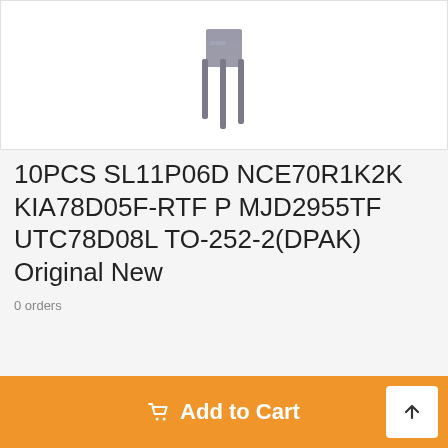[Figure (photo): Electronic component (transistor/semiconductor part) shown on white background, partially cropped at top]
10PCS SL11P06D NCE70R1K2K KIA78D05F-RTF P MJD2955TF UTC78D08L TO-252-2(DPAK) Original New
0 orders
Quantity: 1
Add to Cart